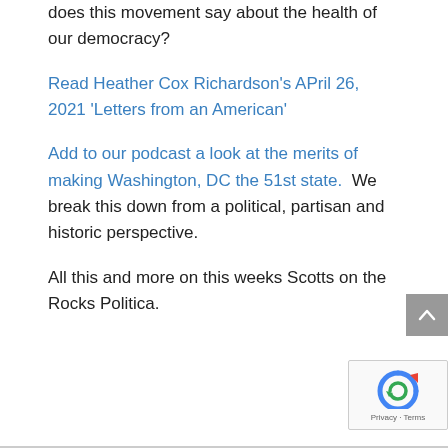does this movement say about the health of our democracy?
Read Heather Cox Richardson's APril 26, 2021 'Letters from an American'
Add to our podcast a look at the merits of making Washington, DC the 51st state.  We break this down from a political, partisan and historic perspective.
All this and more on this weeks Scotts on the Rocks Politica.